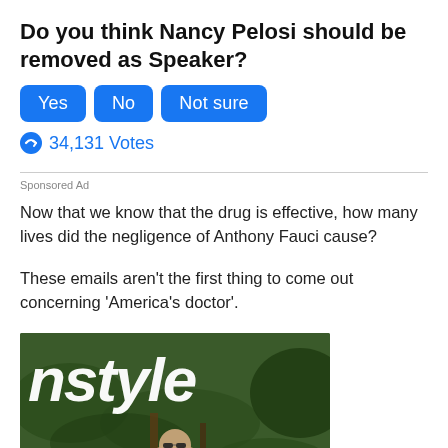Do you think Nancy Pelosi should be removed as Speaker?
[Figure (other): Poll buttons: Yes, No, Not sure (blue rounded rectangles)]
34,131 Votes
Sponsored Ad
Now that we know that the drug is effective, how many lives did the negligence of Anthony Fauci cause?
These emails aren't the first thing to come out concerning 'America's doctor'.
[Figure (photo): InStyle magazine cover featuring a person wearing sunglasses outdoors with greenery in background, with large 'nstyle' text overlay]